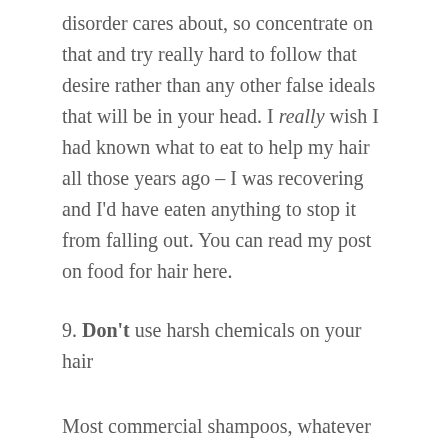disorder cares about, so concentrate on that and try really hard to follow that desire rather than any other false ideals that will be in your head. I really wish I had known what to eat to help my hair all those years ago – I was recovering and I'd have eaten anything to stop it from falling out. You can read my post on food for hair here.
9. Don't use harsh chemicals on your hair
Most commercial shampoos, whatever they claim to do, will be full of chemicals which are less than healthy for your hair. The 'worst' of these is sodium laureth sulfate, which is what makes shampoos and shower gels lather nicely. Experts say it strips the scalp of natural oils and can also leave hair brittle and dry. Once you know this, you'll know that finding